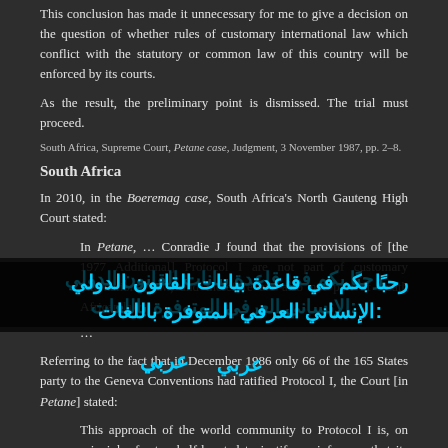This conclusion has made it unnecessary for me to give a decision on the question of whether rules of customary international law which conflict with the statutory or common law of this country will be enforced by its courts.
As the result, the preliminary point is dismissed. The trial must proceed.
South Africa, Supreme Court, Petane case, Judgment, 3 November 1987, pp. 2–8.
South Africa
In 2010, in the Boeremag case, South Africa's North Gauteng High Court stated:
In Petane, … Conradie J found that the provisions of [the 1977 Additional] Protocol I are not part of customary international law, and therefore are also not part of South African law.
…
Referring to the fact that in December 1986 only 66 of the 165 States party to the Geneva Conventions had ratified Protocol I, the Court [in Petane] stated:
This approach of the world community to Protocol I is, on principle, far too half-hearted to justify an inference that its principles have been so widely accepted as to qualify…